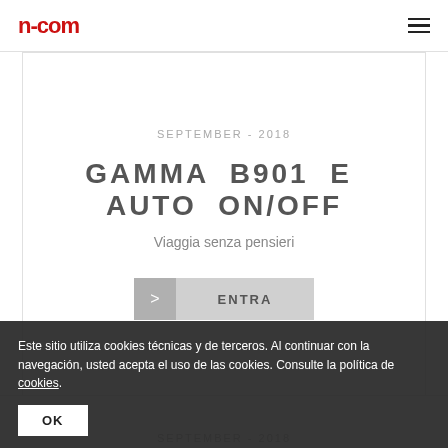n-com
SEPTEMBER - 2018
GAMMA B901 E AUTO ON/OFF
Viaggia senza pensieri
ENTRA
Este sitio utiliza cookies técnicas y de terceros. Al continuar con la navegación, usted acepta el uso de las cookies. Consulte la política de cookies.
OK
SEPTEMBER - 2018